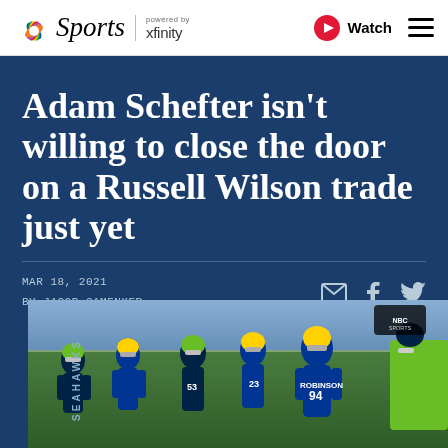[Figure (logo): NBC Sports logo with peacock icon and 'Sports' text, powered by xfinity]
Watch
Adam Schefter isn't willing to close the door on a Russell Wilson trade just yet
MAR 18, 2021
BY JACOB CAMENKER
[Figure (photo): Football game action photo showing Seahawks and Rams players on field, player number 94 Robinson visible]